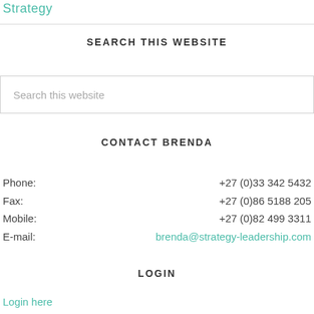Strategy
SEARCH THIS WEBSITE
Search this website
CONTACT BRENDA
Phone: +27 (0)33 342 5432
Fax: +27 (0)86 5188 205
Mobile: +27 (0)82 499 3311
E-mail: brenda@strategy-leadership.com
LOGIN
Login here